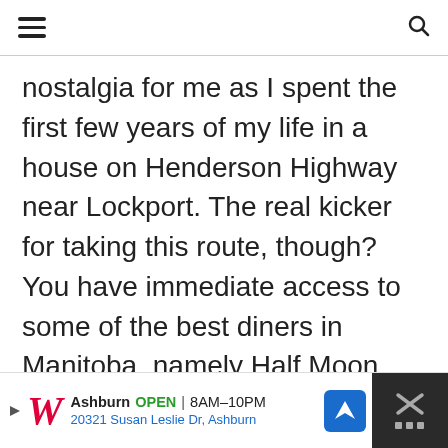nostalgia for me as I spent the first few years of my life in a house on Henderson Highway near Lockport. The real kicker for taking this route, though? You have immediate access to some of the best diners in Manitoba, namely Half Moon, Sonia's Stand, and Skinner's.
[Figure (infographic): Advertisement banner: Walgreens logo with Ashburn OPEN 8AM-10PM, 20321 Susan Leslie Dr, Ashburn, navigation icon, and close button]